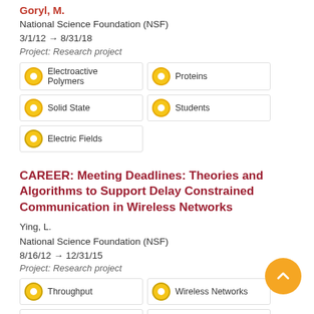Goryl, M.
National Science Foundation (NSF)
3/1/12 → 8/31/18
Project: Research project
Electroactive Polymers
Proteins
Solid State
Students
Electric Fields
CAREER: Meeting Deadlines: Theories and Algorithms to Support Delay Constrained Communication in Wireless Networks
Ying, L.
National Science Foundation (NSF)
8/16/12 → 12/31/15
Project: Research project
Throughput
Wireless Networks
Communication
Network Theory (Graphs)